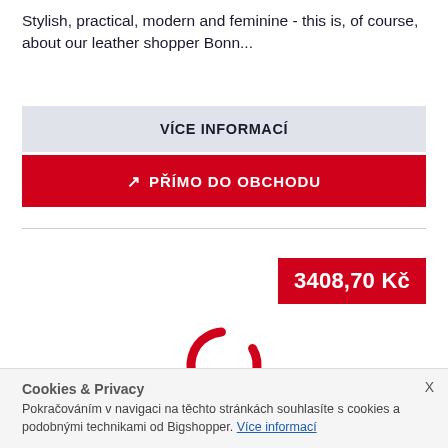Stylish, practical, modern and feminine - this is, of course, about our leather shopper Bonn...
VÍCE INFORMACÍ
PŘÍMO DO OBCHODU
3408,70 Kč
[Figure (other): Red loading spinner / circular progress indicator]
Cookies & Privacy
Pokračováním v navigaci na těchto stránkách souhlasíte s cookies a podobnými technikami od Bigshopper. Více informací